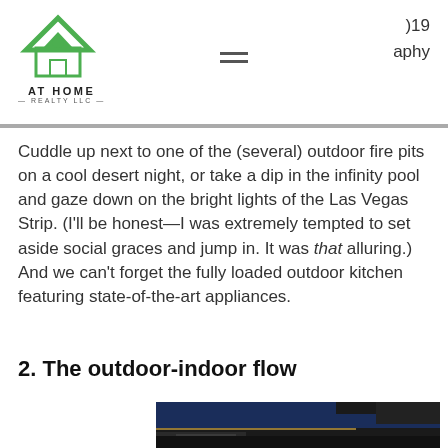)19  aphy
Cuddle up next to one of the (several) outdoor fire pits on a cool desert night, or take a dip in the infinity pool and gaze down on the bright lights of the Las Vegas Strip. (I'll be honest—I was extremely tempted to set aside social graces and jump in. It was that alluring.) And we can't forget the fully loaded outdoor kitchen featuring state-of-the-art appliances.
2. The outdoor-indoor flow
[Figure (photo): Night-time architectural exterior photo showing dark sky with illuminated structural elements and glass panels against a deep blue night sky]